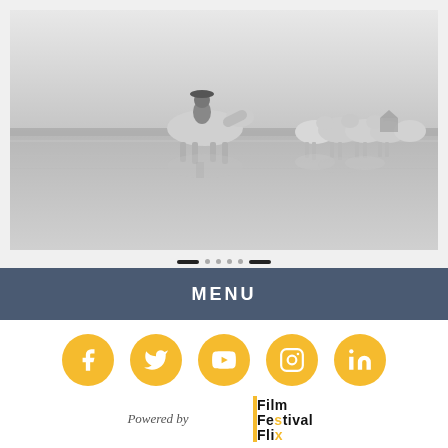[Figure (photo): Black and white photograph of a person on horseback in shallow water, with a herd of white horses in the background, reflections visible in the water. Navigation dots at the bottom.]
MENU
[Figure (infographic): Row of five golden circular social media icons: Facebook, Twitter, YouTube, Instagram, LinkedIn]
Powered by Film Festival Flix